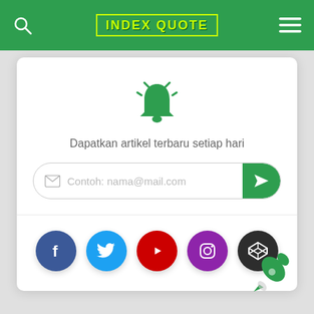INDEX QUOTE
[Figure (screenshot): Notification bell icon (green) with subscribe email form and social media buttons (Facebook, Twitter, YouTube, Instagram, CodePen). Text: 'Dapatkan artikel terbaru setiap hari'. Email placeholder: 'Contoh: nama@mail.com'.]
[Figure (illustration): Green rocket icon at bottom right of page]